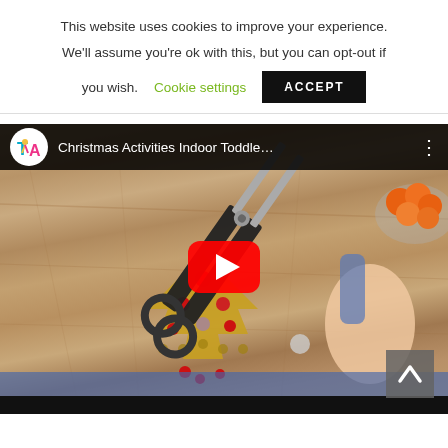This website uses cookies to improve your experience. We'll assume you're ok with this, but you can opt-out if you wish.
Cookie settings
ACCEPT
[Figure (screenshot): YouTube video thumbnail showing 'Christmas Activities Indoor Toddle...' with a Christmas tree tray filled with ornaments, scissors, a hand, and a bowl of oranges on a wooden table. Red YouTube play button visible in center.]